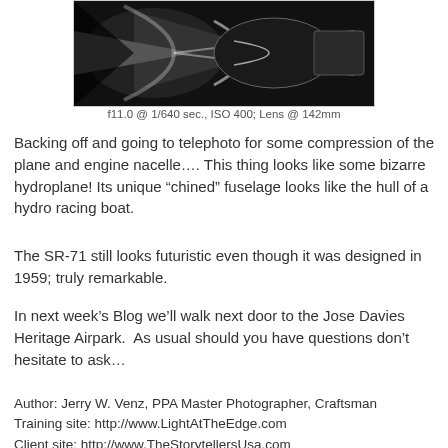[Figure (photo): Black and white photograph of an SR-71 aircraft, showing the engine nacelle and fuselage from a telephoto compression angle.]
f11.0 @ 1/640 sec., ISO 400; Lens @ 142mm
Backing off and going to telephoto for some compression of the plane and engine nacelle…. This thing looks like some bizarre hydroplane! Its unique “chined” fuselage looks like the hull of a hydro racing boat.
The SR-71 still looks futuristic even though it was designed in 1959; truly remarkable.
In next week’s Blog we’ll walk next door to the Jose Davies Heritage Airpark.  As usual should you have questions don’t hesitate to ask…
Author: Jerry W. Venz, PPA Master Photographer, Craftsman
Training site: http://www.LightAtTheEdge.com
Client site: http://www.TheStorytellersUsa.com